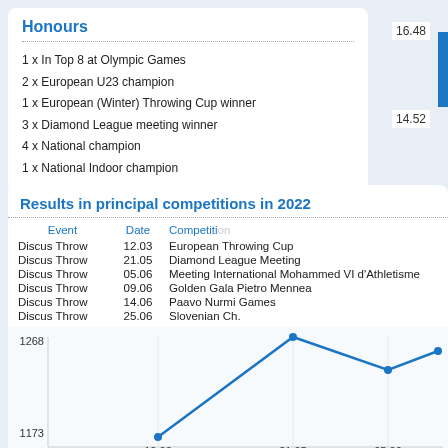Honours
1 x In Top 8 at Olympic Games
2 x European U23 champion
1 x European (Winter) Throwing Cup winner
3 x Diamond League meeting winner
4 x National champion
1 x National Indoor champion
Results in principal competitions in 2022
| Event | Date | Competition |
| --- | --- | --- |
| Discus Throw | 12.03 | European Throwing Cup |
| Discus Throw | 21.05 | Diamond League Meeting |
| Discus Throw | 05.06 | Meeting International Mohammed VI d'Athletisme |
| Discus Throw | 09.06 | Golden Gala Pietro Mennea |
| Discus Throw | 14.06 | Paavo Nurmi Games |
| Discus Throw | 25.06 | Slovenian Ch. |
[Figure (line-chart): ]